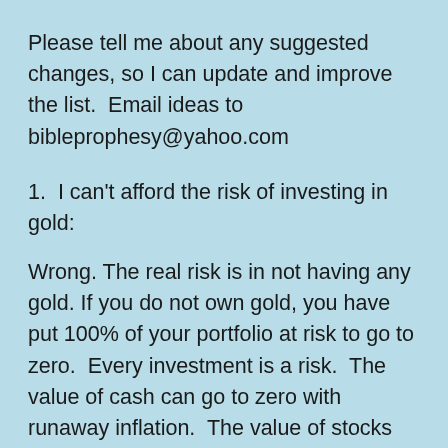Please tell me about any suggested changes, so I can update and improve the list.  Email ideas to bibleprophesy@yahoo.com
1.  I can't afford the risk of investing in gold:
Wrong. The real risk is in not having any gold. If you do not own gold, you have put 100% of your portfolio at risk to go to zero.  Every investment is a risk.  The value of cash can go to zero with runaway inflation.  The value of stocks can go to zero after bankruptcy.  The